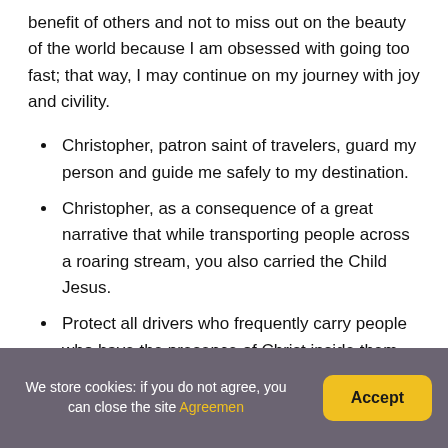benefit of others and not to miss out on the beauty of the world because I am obsessed with going too fast; that way, I may continue on my journey with joy and civility.
Christopher, patron saint of travelers, guard my person and guide me safely to my destination.
Christopher, as a consequence of a great narrative that while transporting people across a roaring stream, you also carried the Child Jesus.
Protect all drivers who frequently carry people who have the presence of Christ inside them.
+ + + + + + + + + + + + + +
We store cookies: if you do not agree, you can close the site Agreemen  Accept